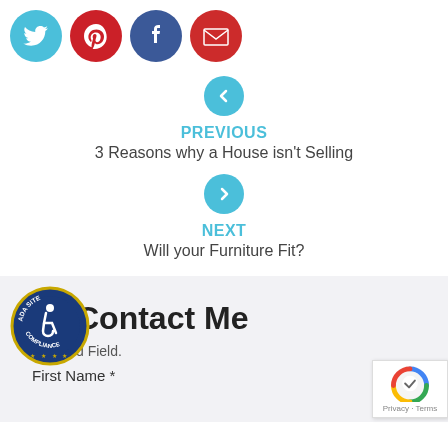[Figure (infographic): Four social media share icons in a row: Twitter (teal circle), Pinterest (red circle), Facebook (dark blue circle), Email (dark red circle)]
[Figure (infographic): Teal circle with left chevron arrow indicating previous navigation]
PREVIOUS
3 Reasons why a House isn't Selling
[Figure (infographic): Teal circle with right chevron arrow indicating next navigation]
NEXT
Will your Furniture Fit?
Contact Me
d Field.
First Name *
[Figure (logo): ADA Site Compliance badge with wheelchair accessibility icon]
[Figure (logo): reCAPTCHA widget showing Privacy - Terms]